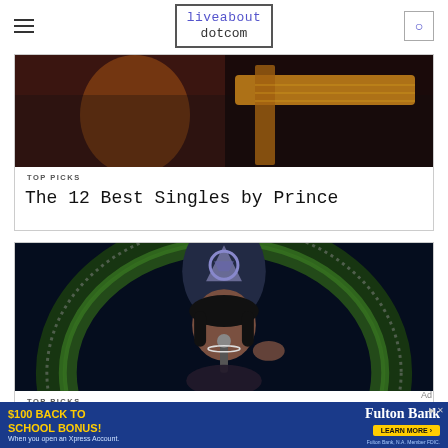liveabout dotcom
[Figure (photo): Partial photo of Prince performing, holding a guitar]
TOP PICKS
The 12 Best Singles by Prince
[Figure (photo): Cher performing on stage wearing an elaborate headdress with feathers and jewels, singing into a microphone]
TOP PICKS
Top 10 Best Music Divas of All Ti...
Ad
[Figure (screenshot): Fulton Bank advertisement: $100 BACK TO SCHOOL BONUS! When you open an Xpress Account. LEARN MORE.]